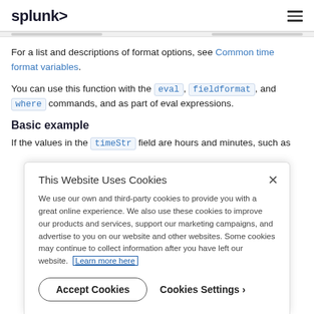splunk>
For a list and descriptions of format options, see Common time format variables.
You can use this function with the eval, fieldformat, and where commands, and as part of eval expressions.
Basic example
If the values in the timeStr field are hours and minutes, such as
This Website Uses Cookies
We use our own and third-party cookies to provide you with a great online experience. We also use these cookies to improve our products and services, support our marketing campaigns, and advertise to you on our website and other websites. Some cookies may continue to collect information after you have left our website. Learn more here
Accept Cookies    Cookies Settings ›